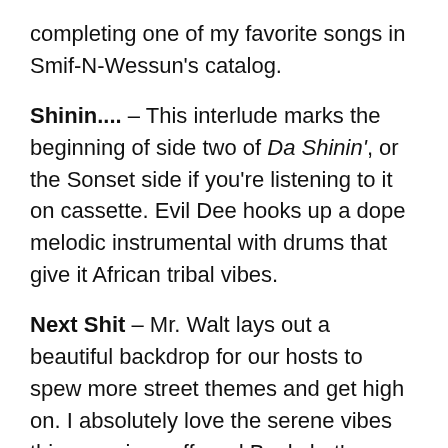completing one of my favorite songs in Smif-N-Wessun's catalog.
Shinin.... – This interlude marks the beginning of side two of Da Shinin', or the Sonset side if you're listening to it on cassette. Evil Dee hooks up a dope melodic instrumental with drums that give it African tribal vibes.
Next Shit – Mr. Walt lays out a beautiful backdrop for our hosts to spew more street themes and get high on. I absolutely love the serene vibes this one gives off, and Buckshot's harmonized hook was a nice added touch.
Cession At Da Doghillee – The entire Boot Camp Click comes out to play on this one: Heltah Skeltah (Ruck aka Sean Price (rip) and Rock), O.G.C. (Louieville Sluggah, Starang Wondah and Top Dog) and Black Moon's lead rapper Buckshot in Tek and Steele... this family affair is